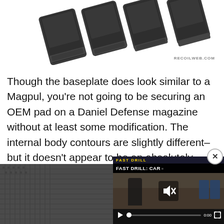[Figure (photo): Multiple dark gray/black magazine baseplates arranged diagonally on white background, with RECOILWEB.COM watermark]
Though the baseplate does look similar to a Magpul, you're not going to be securing an OEM pad on a Daniel Defense magazine without at least some modification. The internal body contours are slightly different–but it doesn't appear to be an absolutely insurmountable problem. Further investigation is warranted. However, while a follower from a Gen 3 PMAG dropped right into the Daniel Defense the revers
[Figure (screenshot): Video overlay showing 'FAST DRILL: CAR' with video player controls, mute icon, play button, progress bar showing 0:00, and fullscreen button. Close X button in top right corner.]
[Figure (photo): Bottom portion showing dark gray magazine surface]